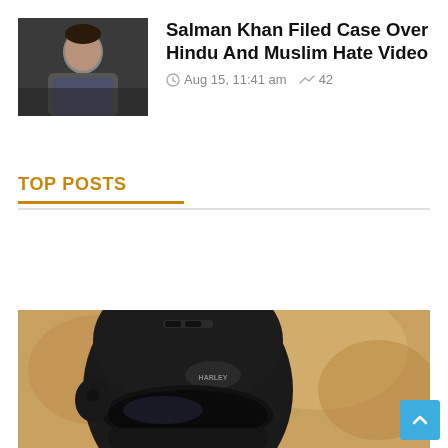[Figure (photo): Photo of Salman Khan, a man in a dark shirt, photographed indoors with a dark background]
Salman Khan Filed Case Over Hindu And Muslim Hate Video
Aug 15, 11:41 am  42
TOP POSTS
[Figure (photo): Person wearing a black Harley-Davidson motorcycle helmet with dark visor, bokeh background in warm brown tones]